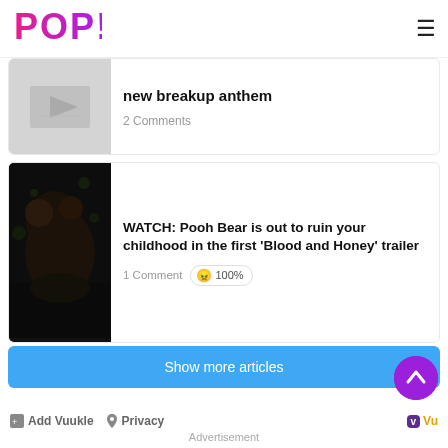POP!
new breakup anthem
2 Comments
WATCH: Pooh Bear is out to ruin your childhood in the first 'Blood and Honey' trailer
1 Comment 😠 100%
Show more articles
Add Vuukle  Privacy  Vu  Advertisement